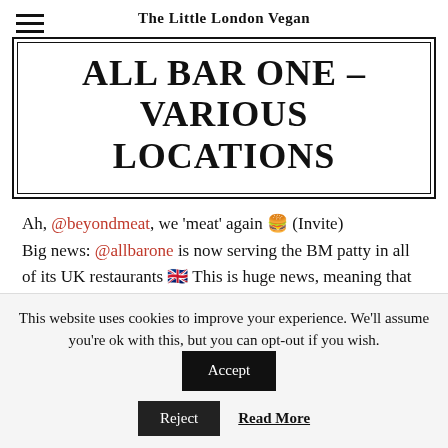The Little London Vegan
ALL BAR ONE – VARIOUS LOCATIONS
Ah, @beyondmeat, we 'meat' again 🍔 (Invite)
Big news: @allbarone is now serving the BM patty in all of its UK restaurants 🇬🇧 This is huge news, meaning that an exciting vegan option is now
This website uses cookies to improve your experience. We'll assume you're ok with this, but you can opt-out if you wish.